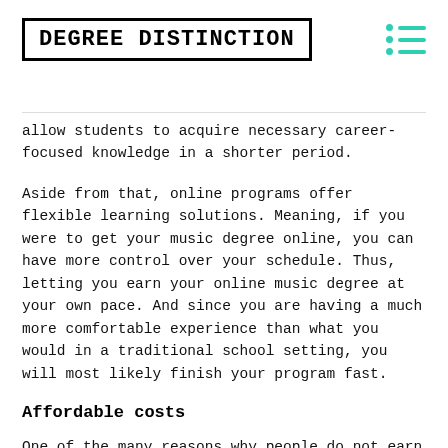DEGREE DISTINCTION
allow students to acquire necessary career-focused knowledge in a shorter period.
Aside from that, online programs offer flexible learning solutions. Meaning, if you were to get your music degree online, you can have more control over your schedule. Thus, letting you earn your online music degree at your own pace. And since you are having a much more comfortable experience than what you would in a traditional school setting, you will most likely finish your program fast.
Affordable costs
One of the many reasons why people do not earn academic recognition in music is because it is among the expensive scholarly endeavors. Most art schools and